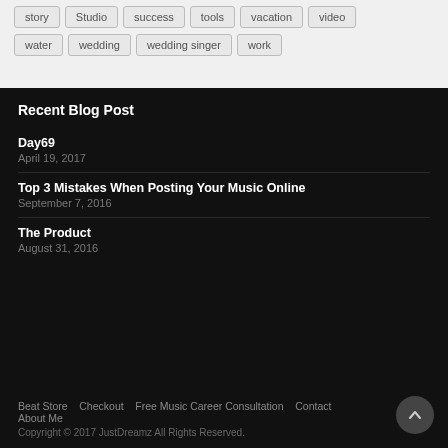story
Studio
success
tools
vacation
video
water
wedding
wedding singer
work
Recent Blog Post
Day69
April 19, 2017
Top 3 Mistakes When Posting Your Music Online
September 7, 2016
The Product
August 31, 2016
Beat Store   Checkout   Free Music Career Consultation   Contact   About Me
Copyright © 2017 JustDreamz All Rights Reserved.